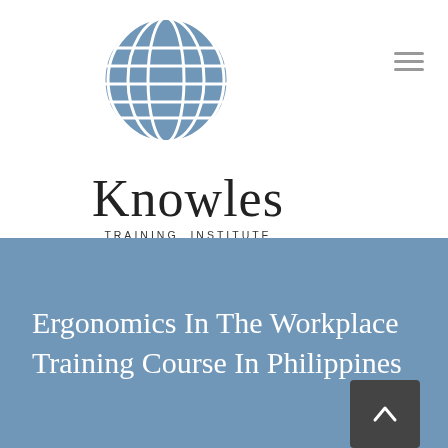[Figure (logo): Knowles Training Institute Philippines logo — a blue globe with grid lines above the text 'Knowles', 'TRAINING INSTITUTE', 'PHILIPPINES']
Ergonomics In The Workplace Training Course In Philippines